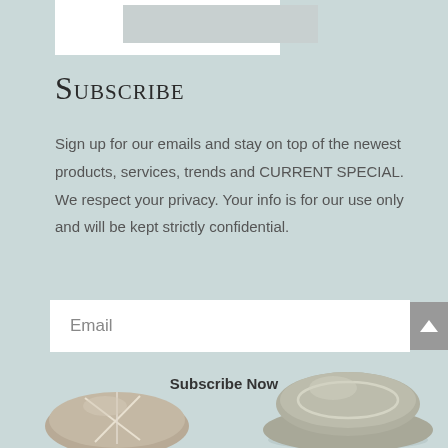[Figure (photo): Partially visible white card/image at top of page, cropped]
Subscribe
Sign up for our emails and stay on top of the newest products, services, trends and CURRENT SPECIAL. We respect your privacy. Your info is for our use only and will be kept strictly confidential.
Email
Subscribe Now
[Figure (photo): Two smooth river stones/zen stones at the bottom of the page, partially visible, on a light teal background]